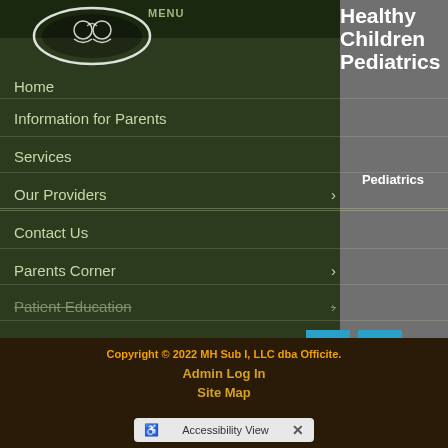[Figure (logo): Circular logo with child silhouette outline on dark background]
Healthy Children Pediatrics
Pediatrics
Home
Information for Parents
Services
Our Providers
Contact Us
Parents Corner
Patient Education
Reviews
Videos
Copyright © 2022 MH Sub I, LLC dba Officite.
Admin Log In
Site Map
Accessibility View